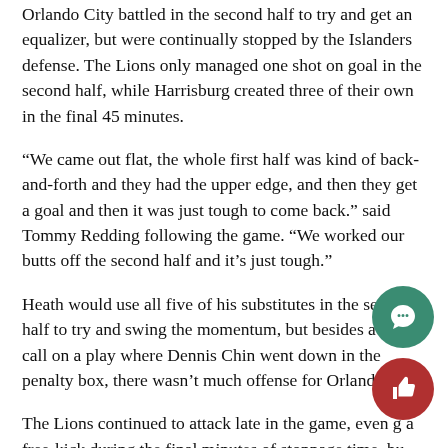Orlando City battled in the second half to try and get an equalizer, but were continually stopped by the Islanders defense. The Lions only managed one shot on goal in the second half, while Harrisburg created three of their own in the final 45 minutes.
“We came out flat, the whole first half was kind of back-and-forth and they had the upper edge, and then they get a goal and then it was just tough to come back.” said Tommy Redding following the game. “We worked our butts off the second half and it’s just tough.”
Heath would use all five of his substitutes in the second half to try and swing the momentum, but besides a non-call on a play where Dennis Chin went down in the penalty box, there wasn’t much offense for Orlando.
The Lions continued to attack late in the game, even g a free-kick during the final minutes of stoppage time, bu Orlando City just couldn’t find the back of the net.
“It’s a tough way to end the season, and for a lot of guys it’s